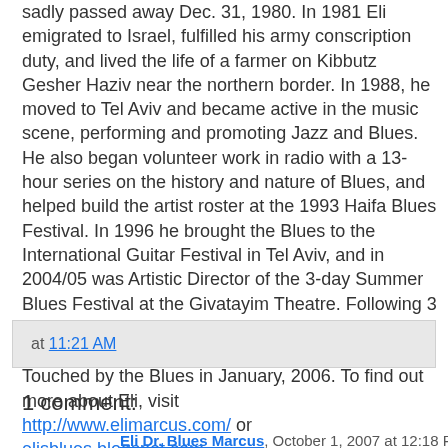sadly passed away Dec. 31, 1980. In 1981 Eli emigrated to Israel, fulfilled his army conscription duty, and lived the life of a farmer on Kibbutz Gesher Haziv near the northern border. In 1988, he moved to Tel Aviv and became active in the music scene, performing and promoting Jazz and Blues. He also began volunteer work in radio with a 13-hour series on the history and nature of Blues, and helped build the artist roster at the 1993 Haifa Blues Festival. In 1996 he brought the Blues to the International Guitar Festival in Tel Aviv, and in 2004/05 was Artistic Director of the 3-day Summer Blues Festival at the Givatayim Theatre. Following 3 years of collecting and editing stories from Blues people worldwide, he published his first book, Touched by the Blues in January, 2006. To find out more about Eli, visit http://www.elimarcus.com/ or elisblues.blogspot.com
at 11:21 AM
1 comment:
Eli Dr. Blues Marcus, October 1, 2007 at 12:18 PM